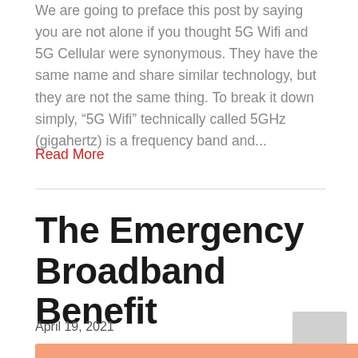We are going to preface this post by saying you are not alone if you thought 5G Wifi and 5G Cellular were synonymous. They have the same name and share similar technology, but they are not the same thing. To break it down simply, “5G Wifi” technically called 5GHz (gigahertz) is a frequency band and...
Read More
The Emergency Broadband Benefit
April 19, 2021